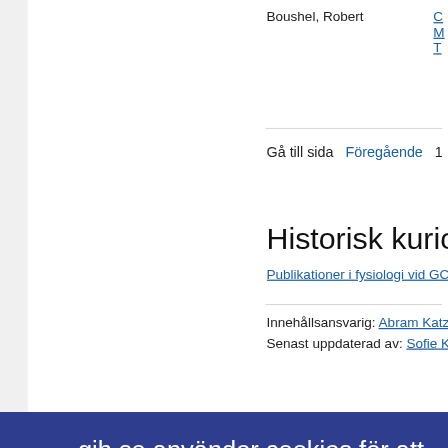Boushel, Robert
Gå till sida  Föregående  1  2
Historisk kuriosa
Publikationer i fysiologi vid GCI-G…
Innehållsansvarig: Abram Katz
Senast uppdaterad av: Sofie Kierkegaa…
gih.se använder cookies för att förbättra webbplatsen – läs mer om våra cookies
Tillåt inte cookies
Tillåt cookies
webbplatsen
sonuppgifter
okies